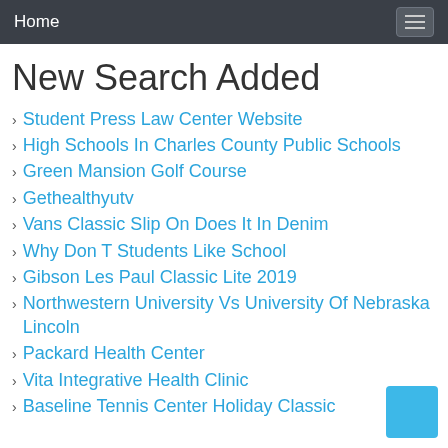Home
New Search Added
Student Press Law Center Website
High Schools In Charles County Public Schools
Green Mansion Golf Course
Gethealthyutv
Vans Classic Slip On Does It In Denim
Why Don T Students Like School
Gibson Les Paul Classic Lite 2019
Northwestern University Vs University Of Nebraska Lincoln
Packard Health Center
Vita Integrative Health Clinic
Baseline Tennis Center Holiday Classic